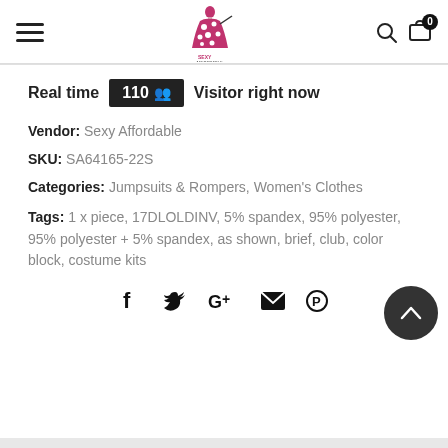Sexy Affordable - Navigation header with hamburger menu, logo, search and cart icons
Real time 110 Visitor right now
Vendor: Sexy Affordable
SKU: SA64165-22S
Categories: Jumpsuits & Rompers, Women's Clothes
Tags: 1 x piece, 17DLOLDINV, 5% spandex, 95% polyester, 95% polyester + 5% spandex, as shown, brief, club, color block, costume kits
[Figure (other): Social sharing icons: Facebook, Twitter, Google+, Email, Pinterest. Scroll-to-top button (dark circle with up chevron) on the right.]